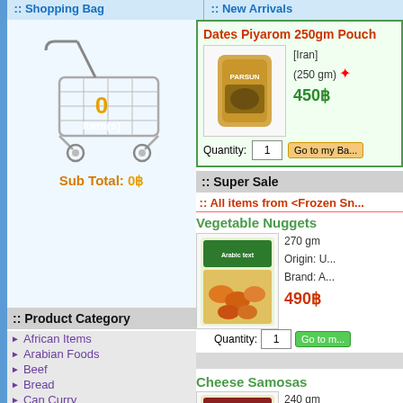:: Shopping Bag
:: New Arrivals
[Figure (illustration): Shopping cart with 0 items]
Sub Total: 0฿
:: Product Category
:: Super Sale
African Items
Arabian Foods
Beef
Bread
Can Curry
Chicken
Dessert
Dry Fruits
Flour
Frozen Fish
Frozen Snacks
Frozen Vegetables
Indonesian Recipe
Dates Piyarom 250gm Pouch
[Iran]
(250 gm)
450฿
Quantity: 1
:: All items from <Frozen Sn...
Vegetable Nuggets
270 gm
Origin: U...
Brand: A...
490฿
Quantity: 1
Cheese Samosas
240 gm
Origin:...